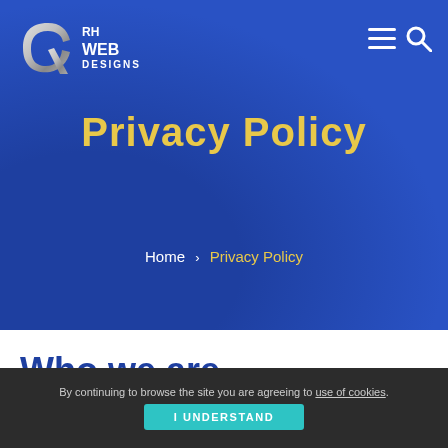[Figure (logo): RH Web Designs logo with stylized silver R and text 'RH WEB DESIGNS']
Privacy Policy
Home > Privacy Policy
Who we are
By continuing to browse the site you are agreeing to use of cookies.
I UNDERSTAND